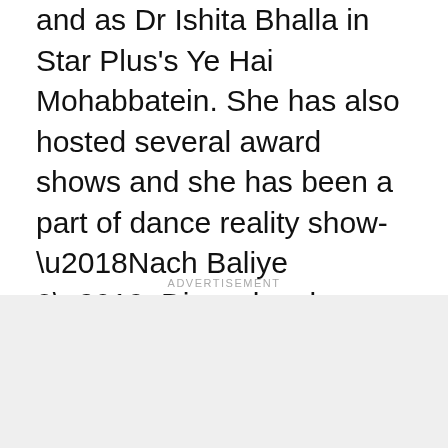and as Dr Ishita Bhalla in Star Plus's Ye Hai Mohabbatein. She has also hosted several award shows and she has been a part of dance reality show-‘Nach Baliye 8’. Divyanka also took part in recently concluded show Khatron Ke Khiladi 11 where she emerged as runner-up. She apparently charges a whopping amount of Rs. 1 to 1.5 lakhs per episode.
ADVERTISEMENT